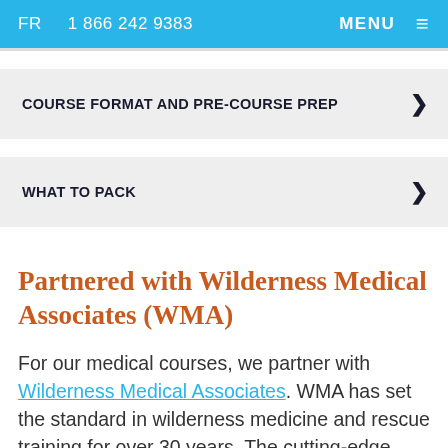FR   1 866 242 9383   MENU
COURSE FORMAT AND PRE-COURSE PREP
WHAT TO PACK
Partnered with Wilderness Medical Associates (WMA)
For our medical courses, we partner with Wilderness Medical Associates. WMA has set the standard in wilderness medicine and rescue training for over 30 years. The cutting-edge curriculum is constantly updated by a group of health care professionals and educators.